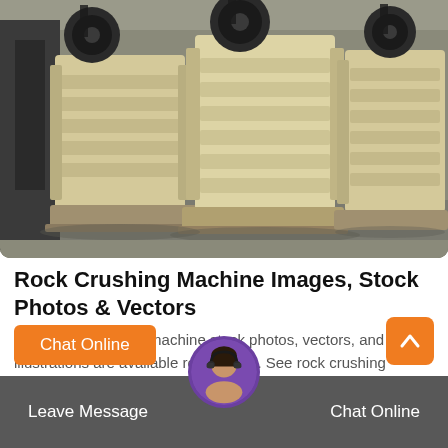[Figure (photo): Industrial jaw crusher machines in a factory setting, showing large cream/beige colored crushers with black flywheels, multiple units lined up in a row on a concrete floor.]
Rock Crushing Machine Images, Stock Photos & Vectors
4,042 rock crushing machine stock photos, vectors, and illustrations are available royalty-free. See rock crushing machine stock video clips. of 41. concrete...
Chat Online
Leave Message
Chat Online